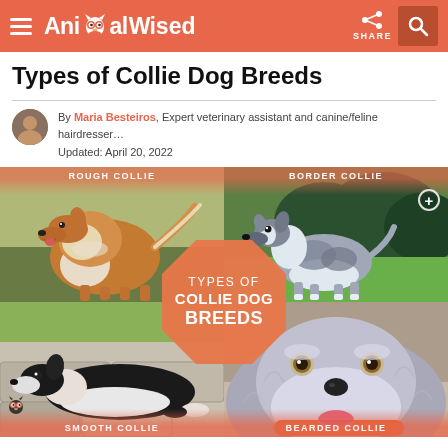AnimalWised — SHARE
Types of Collie Dog Breeds
By Maria Besteiros, Expert veterinary assistant and canine/feline hairdresser… Updated: April 20, 2022
[Figure (photo): 2x2 grid of collie dog breed photos: top-left Rough Collie, top-right Border Collie, bottom-left Smooth Collie, bottom-right Bearded Collie. Center octagon badge reads TYPES OF COLLIE DOG BREEDS in white text on salmon/coral background.]